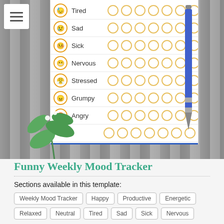[Figure (photo): Photograph of a weekly mood tracker journal page on a wooden background with a blue pen. The tracker shows mood rows (Tired, Sad, Sick, Nervous, Stressed, Grumpy, Angry) with emoji faces and empty circles for each day. Green plant leaves are visible in the lower left. A hamburger menu icon in white box appears top left.]
Funny Weekly Mood Tracker
Sections available in this template:
Weekly Mood Tracker
Happy
Productive
Energetic
Relaxed
Neutral
Tired
Sad
Sick
Nervous